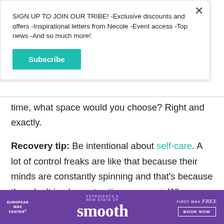SIGN UP TO JOIN OUR TRIBE! -Exclusive discounts and offers -Inspirational letters from Necole -Event access -Top news -And so much more!
Subscribe
time, what space would you choose? Right and exactly.
Recovery tip: Be intentional about self-care. A lot of control freaks are like that because their minds are constantly spinning and that's because they don't implement self-care or rest. When your body is in a state of zen, it's easier for the rest of you to follow
[Figure (other): European Wax Center advertisement banner with purple background. Text reads: EUROPEAN WAX CENTER | EXPERIENCE A NEW STATE OF smooth | FIRST WAX free BOOK NOW]